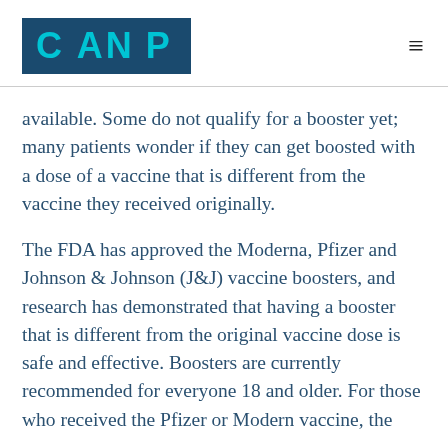CANP
available. Some do not qualify for a booster yet; many patients wonder if they can get boosted with a dose of a vaccine that is different from the vaccine they received originally.
The FDA has approved the Moderna, Pfizer and Johnson & Johnson (J&J) vaccine boosters, and research has demonstrated that having a booster that is different from the original vaccine dose is safe and effective. Boosters are currently recommended for everyone 18 and older. For those who received the Pfizer or Modern vaccine, the